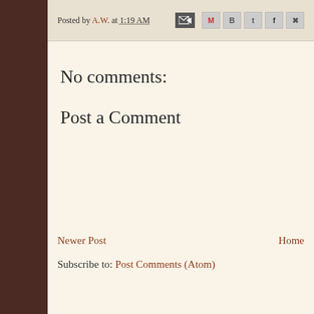Posted by A.W. at 1:19 AM
No comments:
Post a Comment
Newer Post | Home
Subscribe to: Post Comments (Atom)